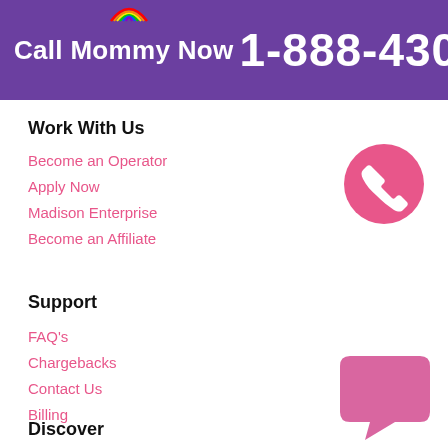Call Mommy Now 1-888-430-2010
Work With Us
Become an Operator
Apply Now
Madison Enterprise
Become an Affiliate
[Figure (illustration): Pink circle with white phone handset icon]
Support
FAQ's
Chargebacks
Contact Us
Billing
[Figure (illustration): Pink speech bubble / chat icon]
Discover